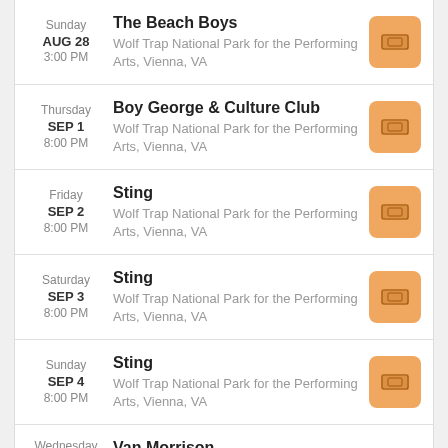Sunday AUG 28 3:00 PM | The Beach Boys | Wolf Trap National Park for the Performing Arts, Vienna, VA
Thursday SEP 1 8:00 PM | Boy George & Culture Club | Wolf Trap National Park for the Performing Arts, Vienna, VA
Friday SEP 2 8:00 PM | Sting | Wolf Trap National Park for the Performing Arts, Vienna, VA
Saturday SEP 3 8:00 PM | Sting | Wolf Trap National Park for the Performing Arts, Vienna, VA
Sunday SEP 4 8:00 PM | Sting | Wolf Trap National Park for the Performing Arts, Vienna, VA
Wednesday | Van Morrison